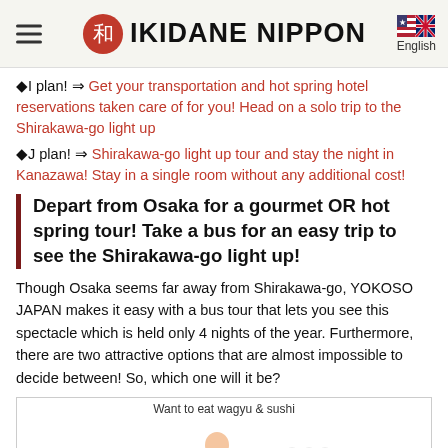IKIDANE NIPPON | English
◆I plan! ⇒ Get your transportation and hot spring hotel reservations taken care of for you! Head on a solo trip to the Shirakawa-go light up
◆J plan! ⇒ Shirakawa-go light up tour and stay the night in Kanazawa! Stay in a single room without any additional cost!
Depart from Osaka for a gourmet OR hot spring tour! Take a bus for an easy trip to see the Shirakawa-go light up!
Though Osaka seems far away from Shirakawa-go, YOKOSO JAPAN makes it easy with a bus tour that lets you see this spectacle which is held only 4 nights of the year. Furthermore, there are two attractive options that are almost impossible to decide between! So, which one will it be?
[Figure (illustration): Illustration showing food items (wagyu and sushi) with a character, and a circle labeled K. Caption: Want to eat wagyu & sushi]